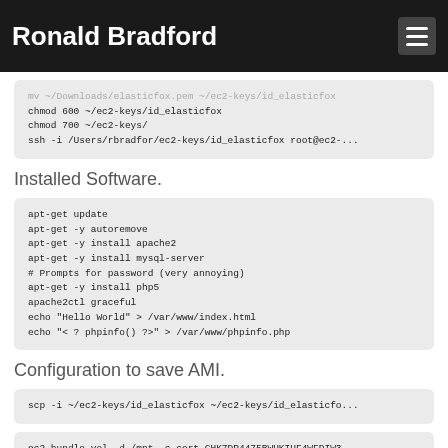Ronald Bradford
mv ~/Downloads/elasticfox.pem ~/ec2-keys/id_elasticfox
chmod 600 ~/ec2-keys/id_elasticfox
chmod 700 ~/ec2-keys/
ssh -i /Users/rbradfor/ec2-keys/id_elasticfox root@ec2-...
Installed Software.
apt-get update
apt-get -y autoremove
apt-get -y install apache2
apt-get -y install mysql-server
# Prompts for password (very annoying)
apt-get -y install php5
apache2ctl graceful
echo "Hello World" > /var/www/index.html
echo "< ? phpinfo() ?>" > /var/www/phpinfo.php
Configuration to save AMI.
scp -i ~/ec2-keys/id_elasticfox ~/ec2-keys/id_elasticfo...
ec2-bundle-vol -d /mnt -c cert-CHK7DP4475BWUKIUF4WFDIW3...
ec2-upload-bundle -b rbradford_804_lamp_ami -m /mnt/ubu...